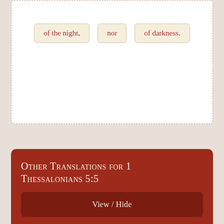[Figure (other): Word chips showing: 'of the night,' | 'nor' | 'of darkness.' inside a dashed border box]
Other Translations for 1 Thessalonians 5:5
View / Hide
Bible Commentary for 1 Thessalonians 5:5
View / Hide